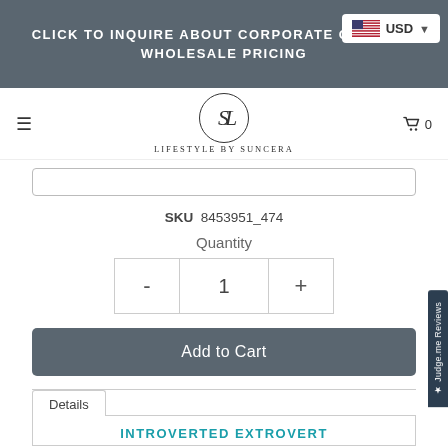CLICK TO INQUIRE ABOUT CORPORATE GIFTING + WHOLESALE PRICING
[Figure (logo): Lifestyle by Suncera logo with circular monogram and brand name]
SKU  8453951_474
Quantity
- 1 +
Add to Cart
Details
INTROVERTED EXTROVERT